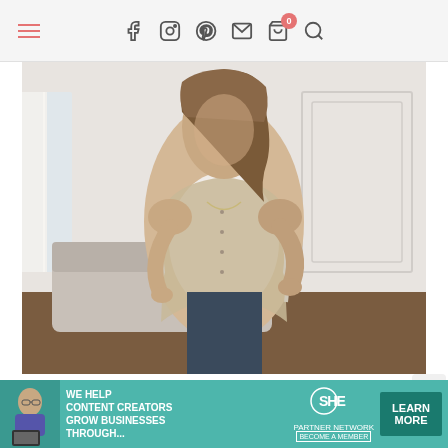Navigation bar with hamburger menu, social icons (f, Instagram, Pinterest, mail), cart with badge 0, and search icon
[Figure (photo): Woman wearing a white ruffle-trim sleeveless denim vest over a white top and dark jeans, posing in a bright living room with a sofa and wainscoting wall behind her]
Hello Lovlies.
[Figure (infographic): SHE Media Partner Network advertisement: teal background with woman using laptop on left; text 'WE HELP CONTENT CREATORS GROW BUSINESSES THROUGH...'; SHE logo with 'PARTNER NETWORK BECOME A MEMBER'; green LEARN MORE button]